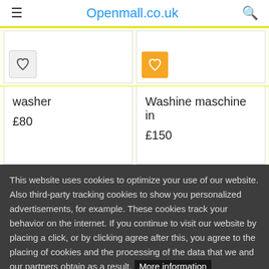Openmall.co.uk
[Figure (screenshot): Product cards row 1: white heart button on left card, yellow heart button on right card]
[Figure (screenshot): Product cards row 2: washer £80 on left, Washine maschine in £150 on right]
This website uses cookies to optimize your use of our website. Also third-party tracking cookies to show you personalized advertisements, for example. These cookies track your behavior on the internet. If you continue to visit our website by placing a click, or by clicking agree after this, you agree to the placing of cookies and the processing of the data that we and our partners obtain as a result. More information OK